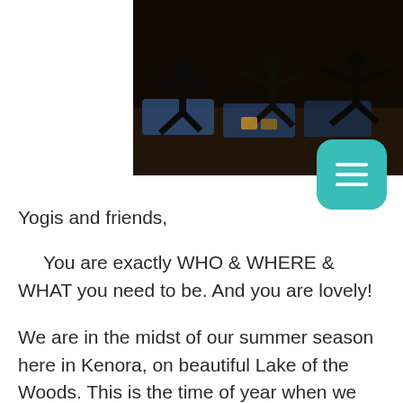[Figure (photo): Indoor yoga class with multiple people on mats in warrior poses, dark/silhouette lighting]
Yogis and friends,
You are exactly WHO & WHERE & WHAT you need to be. And you are lovely!
We are in the midst of our summer season here in Kenora, on beautiful Lake of the Woods. This is the time of year when we remember why we put up with 8-9 months of winter.
How blessed are we to spend August in the Boreal forest along the lake shore.